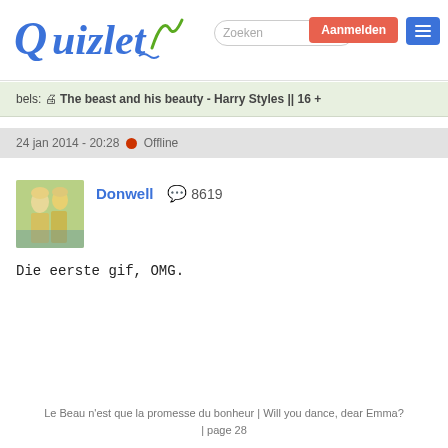Quizlet | Zoeken | Aanmelden
bels: 📋 The beast and his beauty - Harry Styles || 16 +
24 jan 2014 - 20:28  Offline
[Figure (photo): Avatar photo of two young women in yellow-green outfits]
Donwell  💬 8619
Die eerste gif, OMG.
Le Beau n'est que la promesse du bonheur | Will you dance, dear Emma? | page 28